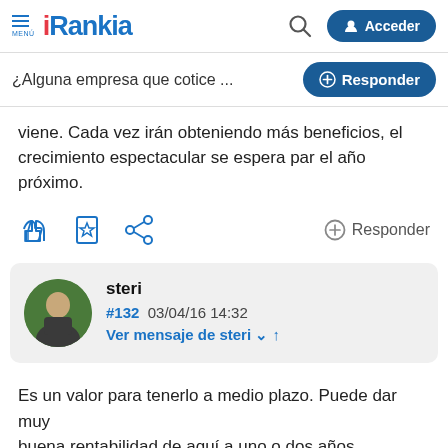[Figure (screenshot): Rankia website header with hamburger menu, Rankia logo, search icon, and Acceder (login) button]
¿Alguna empresa que cotice ...    ⊕ Responder
viene. Cada vez irán obteniendo más beneficios, el crecimiento espectacular se espera par el año próximo.
[Figure (screenshot): Action icons: thumbs up, bookmark, share, and Responder button]
steri
#132  03/04/16 14:32
Ver mensaje de steri ∨ ↑
Es un valor para tenerlo a medio plazo. Puede dar muy buena rentabilidad de aquí a uno o dos años.